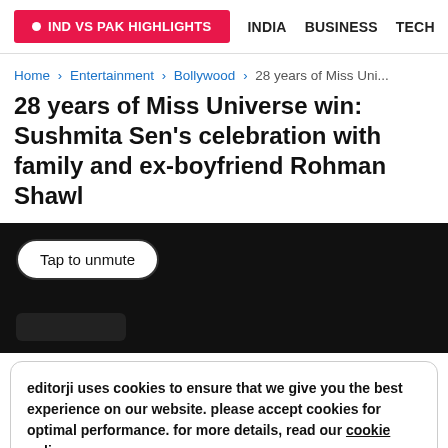IND VS PAK HIGHLIGHTS  INDIA  BUSINESS  TECH
Home > Entertainment > Bollywood > 28 years of Miss Uni...
28 years of Miss Universe win: Sushmita Sen's celebration with family and ex-boyfriend Rohman Shawl
[Figure (screenshot): Video player with dark/black background showing a 'Tap to unmute' button in the upper left]
editorji uses cookies to ensure that we give you the best experience on our website. please accept cookies for optimal performance. for more details, read our cookie policy  ACCEPT COOKIES